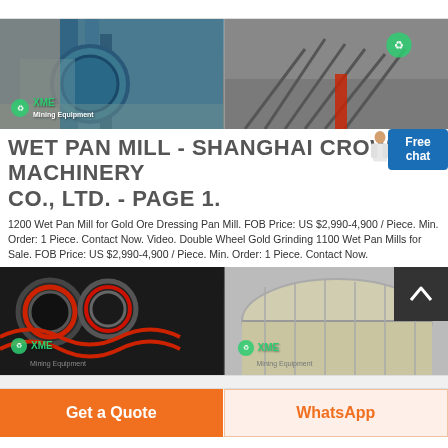[Figure (photo): Two industrial wet pan mill / grinding mill machines - left shows teal-colored industrial mill equipment indoors, right shows large outdoor mining/crushing equipment with red and green accents]
WET PAN MILL - SHANGHAI CROWN MACHINERY CO., LTD. - PAGE 1.
1200 Wet Pan Mill for Gold Ore Dressing Pan Mill. FOB Price: US $2,990-4,900 / Piece. Min. Order: 1 Piece. Contact Now. Video. Double Wheel Gold Grinding 1100 Wet Pan Mills for Sale. FOB Price: US $2,990-4,900 / Piece. Min. Order: 1 Piece. Contact Now.
[Figure (photo): Two more industrial machines - left shows large black industrial jaw crusher/roller mechanism with red rings, right shows a large cylindrical drum/rotary equipment]
Get a Quote
WhatsApp